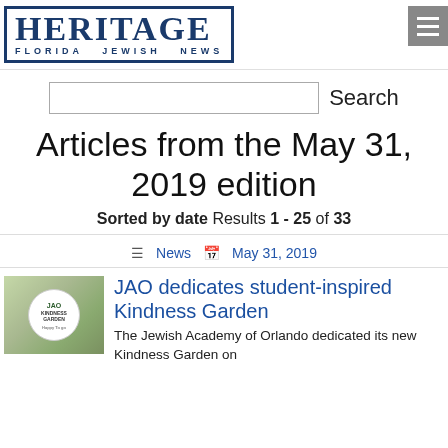[Figure (logo): Heritage Florida Jewish News logo in a blue bordered box with large serif HERITAGE text and smaller spaced subtitle FLORIDA JEWISH NEWS]
[Figure (other): Hamburger menu button (three horizontal white lines on grey square background)]
Search
Articles from the May 31, 2019 edition
Sorted by date  Results 1 - 25 of 33
News  May 31, 2019
[Figure (photo): Thumbnail photo of the Kindness Garden with colorful decorations and a circular sign]
JAO dedicates student-inspired Kindness Garden
The Jewish Academy of Orlando dedicated its new Kindness Garden on